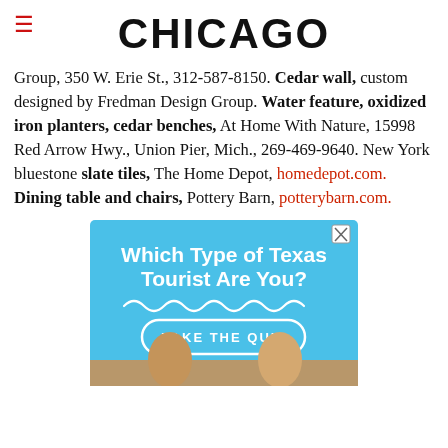CHICAGO
Group, 350 W. Erie St., 312-587-8150. Cedar wall, custom designed by Fredman Design Group. Water feature, oxidized iron planters, cedar benches, At Home With Nature, 15998 Red Arrow Hwy., Union Pier, Mich., 269-469-9640. New York bluestone slate tiles, The Home Depot, homedepot.com. Dining table and chairs, Pottery Barn, potterybarn.com.
[Figure (other): Advertisement: 'Which Type of Texas Tourist Are You? TAKE THE QUIZ' on blue background with wavy line decoration and photo strip of people at bottom]